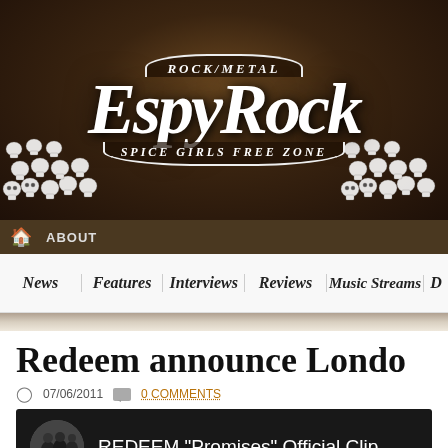[Figure (screenshot): EspyRock website header banner with rock/metal logo, skulls decoration, and tagline 'Spice Girls Free Zone']
ROCK/METAL EspyRock SPICE GIRLS FREE ZONE
ABOUT
News | Features | Interviews | Reviews | Music Streams | D
Redeem announce London
07/06/2011  0 COMMENTS
[Figure (screenshot): YouTube video embed preview showing REDEEM 'Promises' Official Clip with band photo thumbnail]